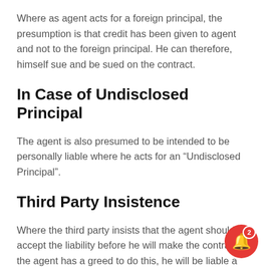Where as agent acts for a foreign principal, the presumption is that credit has been given to agent and not to the foreign principal. He can therefore, himself sue and be sued on the contract.
In Case of Undisclosed Principal
The agent is also presumed to be intended to be personally liable where he acts for an “Undisclosed Principal”.
Third Party Insistence
Where the third party insists that the agent should accept the liability before he will make the contract. If the agent has a greed to do this, he will be liable a long with the principal. In other cases the agent ma have agreed to be the principal’s guarantor.